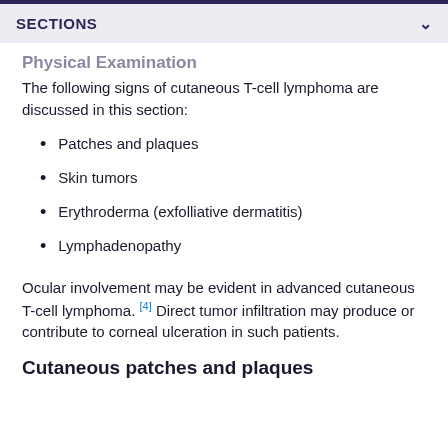SECTIONS
Physical Examination
The following signs of cutaneous T-cell lymphoma are discussed in this section:
Patches and plaques
Skin tumors
Erythroderma (exfolliative dermatitis)
Lymphadenopathy
Ocular involvement may be evident in advanced cutaneous T-cell lymphoma. [4] Direct tumor infiltration may produce or contribute to corneal ulceration in such patients.
Cutaneous patches and plaques